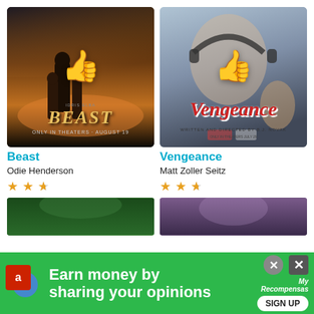[Figure (photo): Movie poster for 'Beast' starring Idris Elba, showing figures in an African savanna setting with dramatic sky. Thumbs up emoji overlay. Text: FIGHT FOR FAMILY, IDRIS ELBA, BEAST, ONLY IN THEATERS AUGUST 19]
Beast
Odie Henderson
[Figure (other): Star rating showing 2.5 out of 4 stars (gold stars) for Beast]
[Figure (photo): Movie poster for 'Vengeance' written and directed by B.J. Novak, showing a man with headphones and other characters. Thumbs up emoji overlay. Text: Vengeance, Written and Directed by B.J. Novak]
Vengeance
Matt Zoller Seitz
[Figure (other): Star rating showing 2.5 out of 4 stars (gold stars) for Vengeance]
[Figure (photo): Partial movie poster (bottom, cropped) with green/dark tones on left]
[Figure (photo): Partial movie poster (bottom, cropped) with purple/dark tones on right]
[Figure (screenshot): Advertisement banner: green background, Amazon icon, text 'Earn money by sharing your opinions', MyRecompensas logo, SIGN UP button, close buttons]